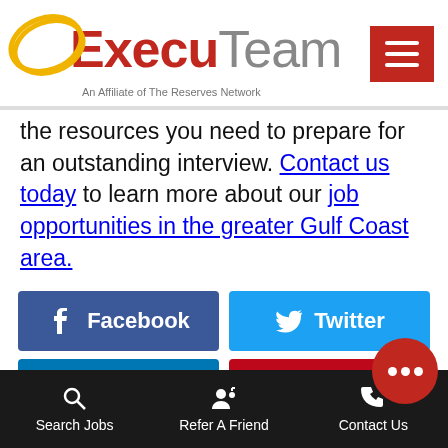[Figure (logo): ExecuTeam logo with gold oval, red 'Execu' and gray 'Team' text, tagline 'An Affiliate of The Reserves Network', red hamburger menu button top right]
the resources you need to prepare for an outstanding interview. Contact us today to learn more about our job opportunities in the greater Gulf Coast area.
[Figure (infographic): Facebook share button (blue) and Twitter share button (light blue) side by side]
[Figure (infographic): Partial LinkedIn and Pinterest share buttons partially visible at bottom]
Search Jobs   Refer A Friend   Contact Us